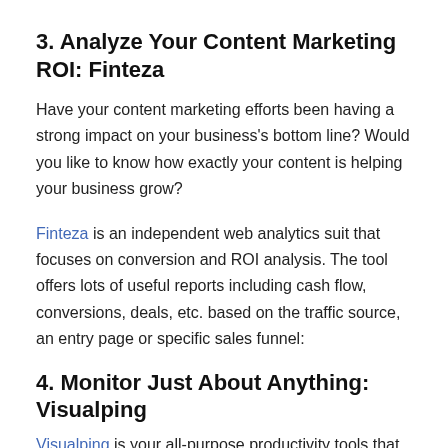3. Analyze Your Content Marketing ROI: Finteza
Have your content marketing efforts been having a strong impact on your business's bottom line? Would you like to know how exactly your content is helping your business grow?
Finteza is an independent web analytics suit that focuses on conversion and ROI analysis. The tool offers lots of useful reports including cash flow, conversions, deals, etc. based on the traffic source, an entry page or specific sales funnel:
4. Monitor Just About Anything: Visualping
Visualping is your all-purpose productivity tools that